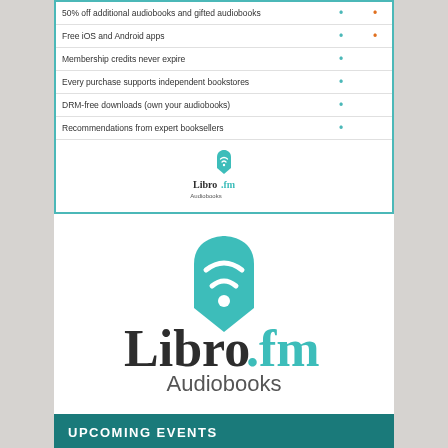| Feature | Plan1 | Plan2 |
| --- | --- | --- |
| 50% off additional audiobooks and gifted audiobooks | • | • |
| Free iOS and Android apps | • | • |
| Membership credits never expire | • |  |
| Every purchase supports independent bookstores | • |  |
| DRM-free downloads (own your audiobooks) | • |  |
| Recommendations from expert booksellers | • |  |
[Figure (logo): Libro.fm Audiobooks logo inside table box — small version with teal shield/book icon, dark 'Libro' text, teal '.fm', 'Audiobooks' below]
[Figure (logo): Libro.fm Audiobooks logo — large version with teal shield/book icon, dark 'Libro' text, teal '.fm', 'Audiobooks' below]
UPCOMING EVENTS
No upcoming events available
more